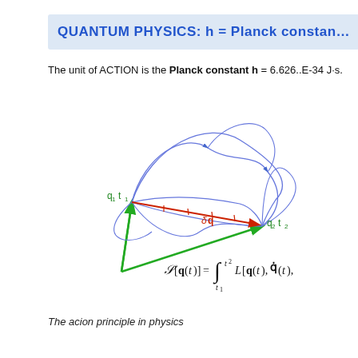QUANTUM PHYSICS: h = Planck constan…
The unit of ACTION is the Planck constant h = 6.626..E-34 J·s.
[Figure (illustration): Diagram illustrating the action principle in physics. Shows multiple blue curved paths between two points labeled q1,t1 (left, green arrow) and q2,t2 (right, green arrow), with a red straight arrow (labeled δq) indicating variation between paths. Below the diagram is the action functional formula S[q(t)] = integral from t1 to t2 of L[q(t), q-dot(t), ...] dt.]
The acion principle in physics